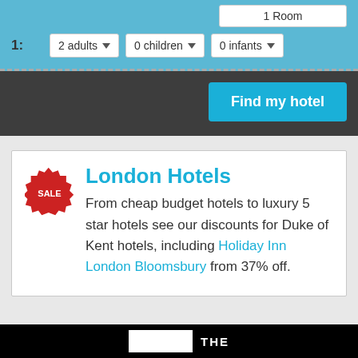1 Room
1: 2 adults   0 children   0 infants
Find my hotel
[Figure (logo): Red sale badge/starburst with white text SALE]
London Hotels
From cheap budget hotels to luxury 5 star hotels see our discounts for Duke of Kent hotels, including Holiday Inn London Bloomsbury from 37% off.
THE